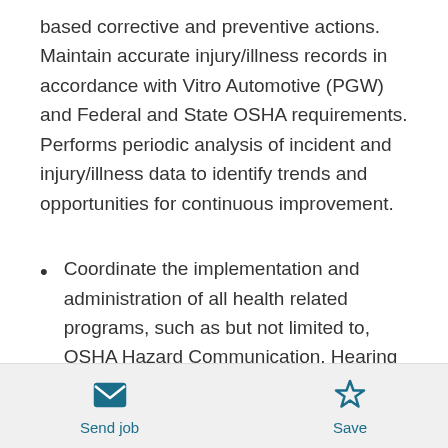based corrective and preventive actions. Maintain accurate injury/illness records in accordance with Vitro Automotive (PGW) and Federal and State OSHA requirements. Performs periodic analysis of incident and injury/illness data to identify trends and opportunities for continuous improvement.
Coordinate the implementation and administration of all health related programs, such as but not limited to, OSHA Hazard Communication, Hearing Conservation, Respiratory
Send job   Save